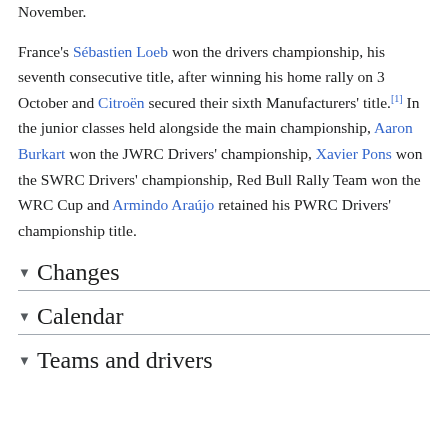November.
France's Sébastien Loeb won the drivers championship, his seventh consecutive title, after winning his home rally on 3 October and Citroën secured their sixth Manufacturers' title.[1] In the junior classes held alongside the main championship, Aaron Burkart won the JWRC Drivers' championship, Xavier Pons won the SWRC Drivers' championship, Red Bull Rally Team won the WRC Cup and Armindo Araújo retained his PWRC Drivers' championship title.
Changes
Calendar
Teams and drivers